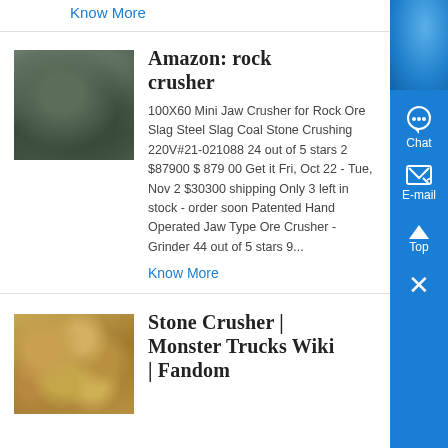Know More
Amazon: rock crusher
100X60 Mini Jaw Crusher for Rock Ore Slag Steel Slag Coal Stone Crushing 220V#21-021088 24 out of 5 stars 2 $87900 $ 879 00 Get it Fri, Oct 22 - Tue, Nov 2 $30300 shipping Only 3 left in stock - order soon Patented Hand Operated Jaw Type Ore Crusher - Grinder 44 out of 5 stars 9...
Know More
Stone Crusher | Monster Trucks Wiki | Fandom
[Figure (photo): Rock crusher machinery - dark green/grey industrial equipment]
[Figure (photo): Stone crusher - round metallic/golden balls/stones in a pile]
[Figure (photo): Blue background sidebar image]